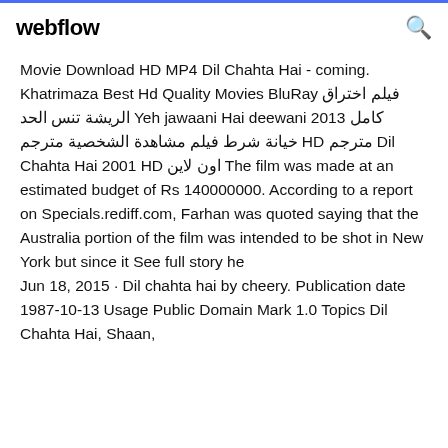webflow
Movie Download HD MP4 Dil Chahta Hai - coming. Khatrimaza Best Hd Quality Movies BluRay فيلم اختراق الريشة تنس الحد Yeh jawaani Hai deewani 2013 كامل مترجم HD خيانة شرط فيلم مشاهدة الشخصية مترجم Dil Chahta Hai 2001 اون لاين HD The film was made at an estimated budget of Rs 140000000. According to a report on Specials.rediff.com, Farhan was quoted saying that the Australia portion of the film was intended to be shot in New York but since it See full story he
Jun 18, 2015 · Dil chahta hai by cheery. Publication date 1987-10-13 Usage Public Domain Mark 1.0 Topics Dil Chahta Hai, Shaan,